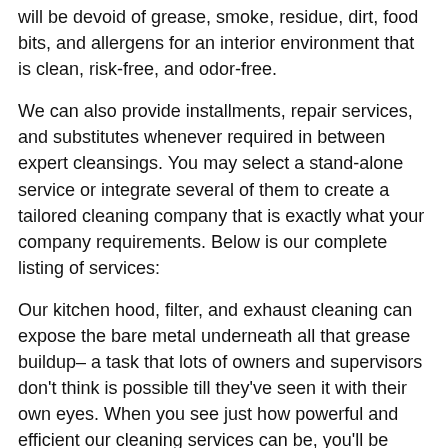will be devoid of grease, smoke, residue, dirt, food bits, and allergens for an interior environment that is clean, risk-free, and odor-free.
We can also provide installments, repair services, and substitutes whenever required in between expert cleansings. You may select a stand-alone service or integrate several of them to create a tailored cleaning company that is exactly what your company requirements. Below is our complete listing of services:
Our kitchen hood, filter, and exhaust cleaning can expose the bare metal underneath all that grease buildup– a task that lots of owners and supervisors don't think is possible till they've seen it with their own eyes. When you see just how powerful and efficient our cleaning services can be, you'll be convinced that Midway Hood Cleaning is the only exhaust cleansing firm that you'll ever before need.
A full commercial kitchen hood cleaning will get rid of the